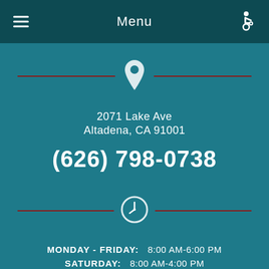Menu
[Figure (illustration): Location pin icon with red horizontal divider lines on each side]
2071 Lake Ave
Altadena, CA 91001
(626) 798-0738
[Figure (illustration): Clock icon with red horizontal divider lines on each side]
MONDAY - FRIDAY:    8:00 AM-6:00 PM
SATURDAY:    8:00 AM-4:00 PM
SUNDAY:    9:00 AM-5:00 PM